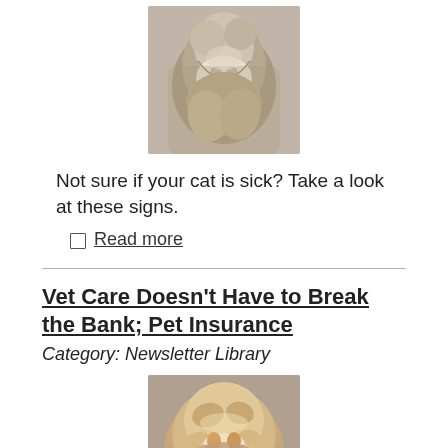[Figure (photo): Close-up photo of a gray tabby cat scratching its face with its paw]
Not sure if your cat is sick? Take a look at these signs.
Read more
Vet Care Doesn't Have to Break the Bank; Pet Insurance
Category: Newsletter Library
[Figure (photo): Close-up photo of a fluffy tabby cat resting with eyes partially closed]
Wondering if pet insurance is a good idea?